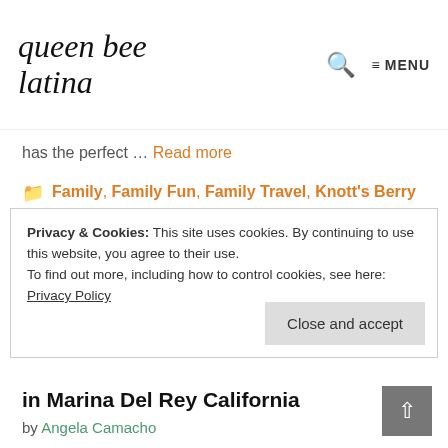queen bee latina — MENU
has the perfect … Read more
Family, Family Fun, Family Travel, Knott's Berry Farm, Queen Bee, Theme Parks
buena park, Knott's Spooky Farm, Knotts, oc, Orange County
Leave a comment
Privacy & Cookies: This site uses cookies. By continuing to use this website, you agree to their use.
To find out more, including how to control cookies, see here:
Privacy Policy
Close and accept
in Marina Del Rey California
by Angela Camacho